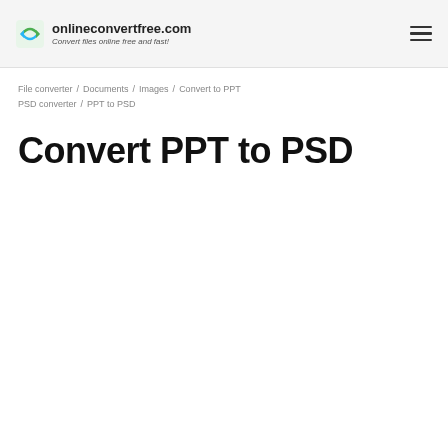onlineconvertfree.com — Convert files online free and fast!
File converter / Documents / Images / Convert to PPT / PSD converter / PPT to PSD
Convert PPT to PSD